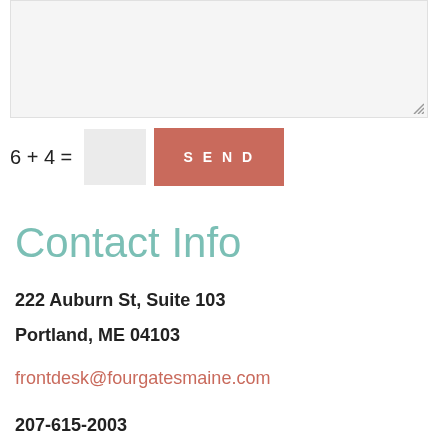[Figure (screenshot): A text area form field with light gray background and a resize handle in the bottom-right corner.]
6 + 4 =
Contact Info
222 Auburn St, Suite 103
Portland, ME 04103
frontdesk@fourgatesmaine.com
207-615-2003